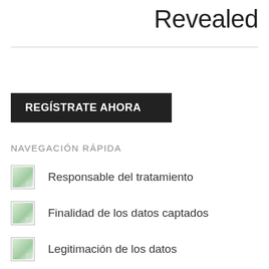Revealed
NAVEGACIÓN RÁPIDA
[Figure (other): Black button with white bold text: REGÍSTRATE AHORA]
Responsable del tratamiento
Finalidad de los datos captados
Legitimación de los datos
Destinatarios de tus datos